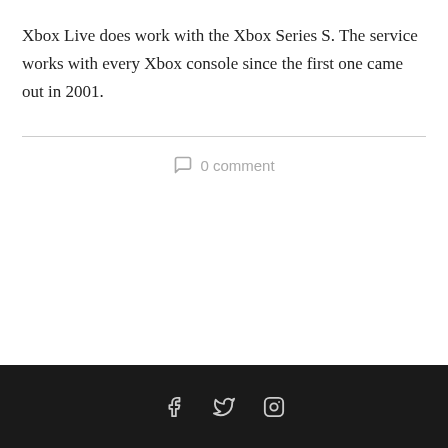Xbox Live does work with the Xbox Series S. The service works with every Xbox console since the first one came out in 2001.
0 comment
Social media icons: Facebook, Twitter, Instagram